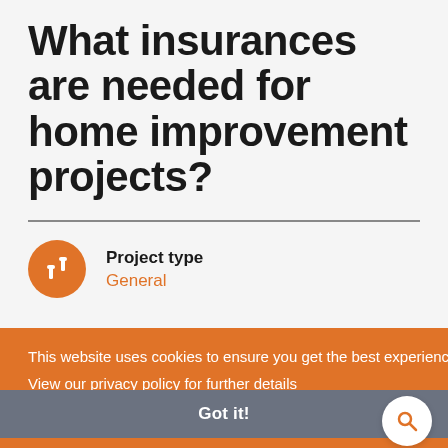What insurances are needed for home improvement projects?
Project type
General
Find my local authority
This website uses cookies to ensure you get the best experience on our website.
View our privacy policy for further details
Enter your postcode
Got it!